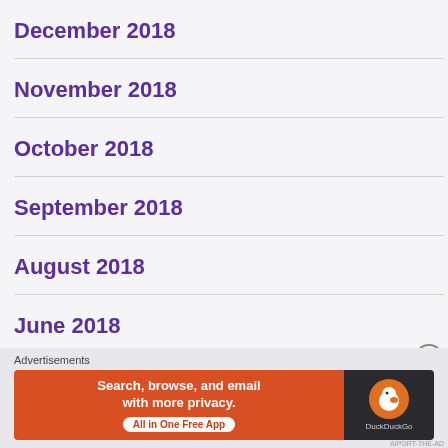December 2018
November 2018
October 2018
September 2018
August 2018
June 2018
May 2018
[Figure (other): DuckDuckGo advertisement banner: 'Search, browse, and email with more privacy. All in One Free App' with DuckDuckGo logo on dark background]
Advertisements